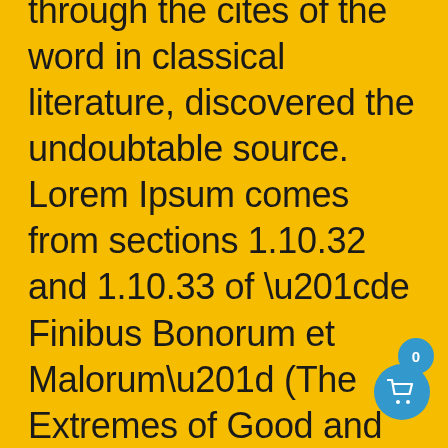through the cites of the word in classical literature, discovered the undoubtable source. Lorem Ipsum comes from sections 1.10.32 and 1.10.33 of “de Finibus Bonorum et Malorum” (The Extremes of Good and Evil) by Cicero, written in 45 BC. This book is a treatise on the theory of ethics, very popular during the Renaissance. The first line of
[Figure (illustration): Shopping cart button with badge showing 0, blue circle icons]